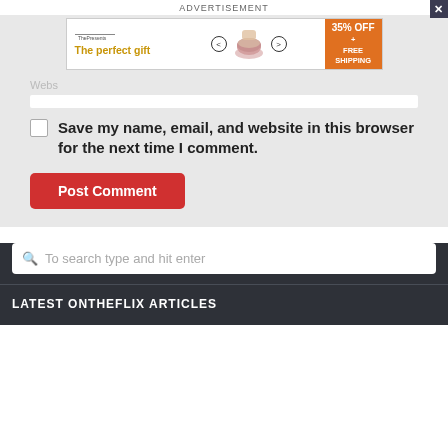ADVERTISEMENT
[Figure (screenshot): Advertisement banner for 'The perfect gift' showing product images, navigation arrows, and '35% OFF + FREE SHIPPING' offer in orange panel]
Website
Save my name, email, and website in this browser for the next time I comment.
Post Comment
To search type and hit enter
LATEST ONTHEFLIX ARTICLES